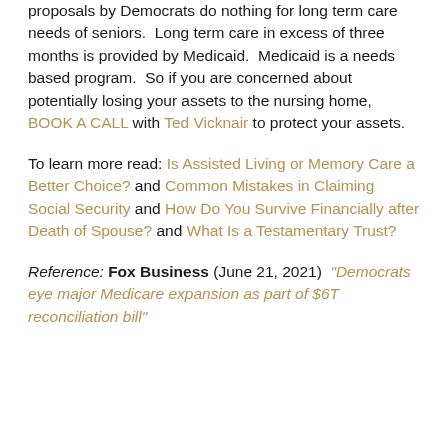proposals by Democrats do nothing for long term care needs of seniors. Long term care in excess of three months is provided by Medicaid. Medicaid is a needs based program. So if you are concerned about potentially losing your assets to the nursing home, BOOK A CALL with Ted Vicknair to protect your assets.
To learn more read: Is Assisted Living or Memory Care a Better Choice? and Common Mistakes in Claiming Social Security and How Do You Survive Financially after Death of Spouse? and What Is a Testamentary Trust?
Reference: Fox Business (June 21, 2021) "Democrats eye major Medicare expansion as part of $6T reconciliation bill"